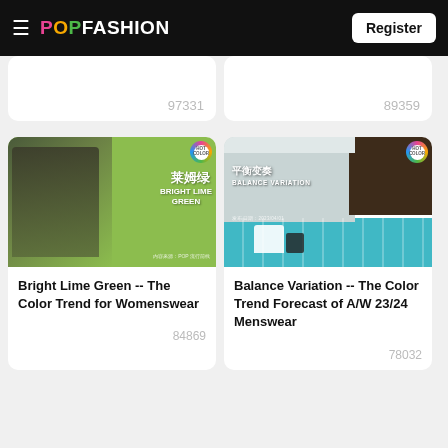POPFASHION — Register
[Figure (screenshot): Partial card showing view count 97331]
[Figure (screenshot): Partial card showing view count 89359]
[Figure (photo): Bright Lime Green fashion article thumbnail with woman in green outfit]
Bright Lime Green -- The Color Trend for Womenswear
84869
[Figure (photo): Balance Variation interior design scene with teal and dark tones]
Balance Variation -- The Color Trend Forecast of A/W 23/24 Menswear
78032